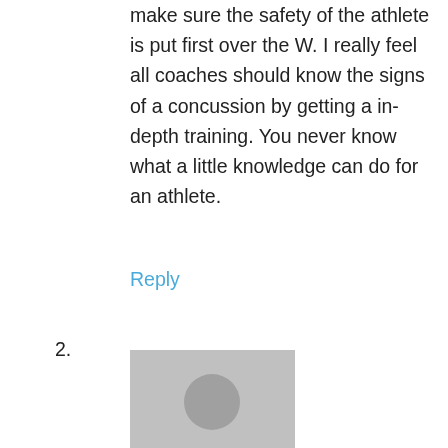make sure the safety of the athlete is put first over the W. I really feel all coaches should know the signs of a concussion by getting a in-depth training. You never know what a little knowledge can do for an athlete.
Reply
2.
[Figure (photo): Default avatar placeholder image — grey square with silhouette of a person (head circle and shoulders arc) in slightly darker grey]
מנעולן בתל אביב
April 18th, 2016
Hey very nice site!! Man .. Excellent .. Superb .. I'll bookmark your blog and take the feeds additionally…